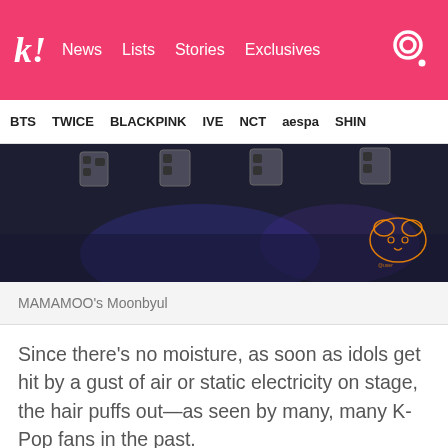k! News  Lists  Stories  Exclusives
BTS  TWICE  BLACKPINK  IVE  NCT  aespa  SHIN
[Figure (photo): Stage photo, dark background with stage lighting equipment and a neon animal logo in the bottom right corner]
MAMAMOO's Moonbyul
Since there’s no moisture, as soon as idols get hit by a gust of air or static electricity on stage, the hair puffs out—as seen by many, many K-Pop fans in the past.
[Figure (photo): Dark teal/green background photo showing what appears to be fine strands of hair, with a watermark logo in the upper left]